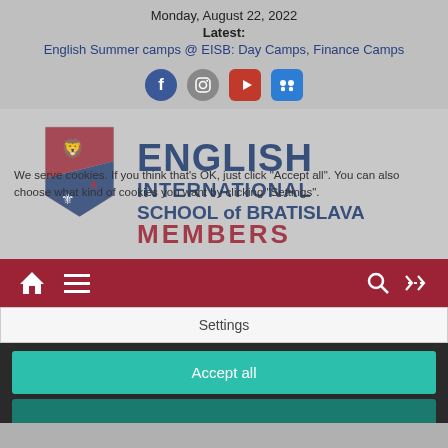Monday, August 22, 2022
Latest:
English Summer camps @ EISB: Day Camps, Finance Camps
[Figure (screenshot): Social media icons: Facebook, Instagram, YouTube, Flickr]
[Figure (logo): English International School of Bratislava Members logo with shield crest]
We serve cookies. If you think that's OK, just click "Accept all". You can also choose what kind of cookies you want by clicking "Settings".
[Figure (screenshot): Navigation bar with home, menu, search, and shuffle icons on dark red background]
Settings
Accept all